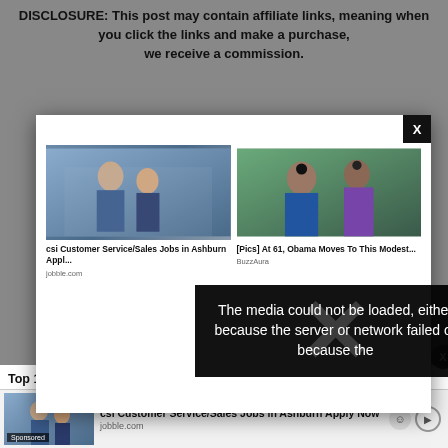DISCLOSURE: This post may contain affiliate links, meaning when you click the links and make a purchase, we receive a commission.
[Figure (screenshot): Ad popup modal with two sponsored content items: 'csi Customer Service/Sales Jobs in Ashburn Appl...' from jobble.com and '[Pics] At 61, Obama Moves To This Modest...' from BuzzAura. Includes a close X button in top right corner.]
[Figure (screenshot): Black error overlay with large X watermark showing message: 'The media could not be loaded, either because the server or network failed or because the']
Top 15 Cars for College...
[Figure (screenshot): Bottom banner ad for 'csi Customer Service/Sales Jobs in Ashburn Apply Now' from jobble.com with sponsored image and action buttons]